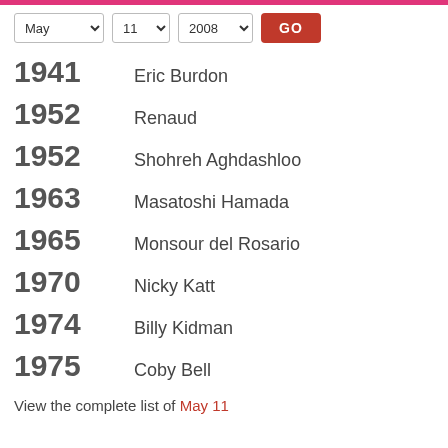May 11 2008 GO
1941 Eric Burdon
1952 Renaud
1952 Shohreh Aghdashloo
1963 Masatoshi Hamada
1965 Monsour del Rosario
1970 Nicky Katt
1974 Billy Kidman
1975 Coby Bell
View the complete list of May 11